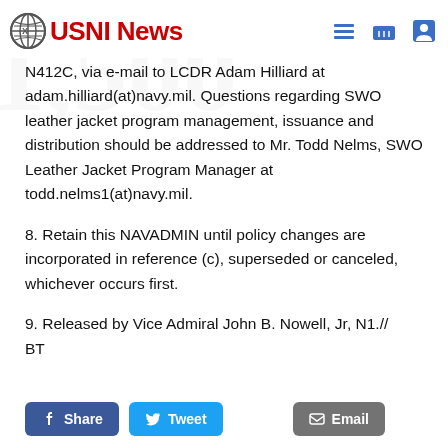USNI News
N412C, via e-mail to LCDR Adam Hilliard at adam.hilliard(at)navy.mil. Questions regarding SWO leather jacket program management, issuance and distribution should be addressed to Mr. Todd Nelms, SWO Leather Jacket Program Manager at todd.nelms1(at)navy.mil.
8. Retain this NAVADMIN until policy changes are incorporated in reference (c), superseded or canceled, whichever occurs first.
9. Released by Vice Admiral John B. Nowell, Jr, N1.// BT